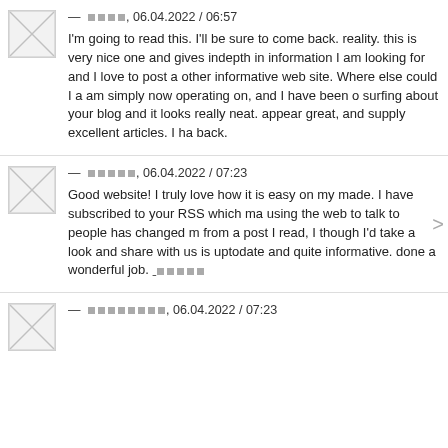[Figure (illustration): Avatar placeholder with X cross]
— ████, 06.04.2022 / 06:57
I'm going to read this. I'll be sure to come back. reality. this is very nice one and gives indepth information I am looking for and I love to post a other informative web site. Where else could I am simply now operating on, and I have been surfing about your blog and it looks really neat. appear great, and supply excellent articles. I ha back.
[Figure (illustration): Avatar placeholder with X cross and left/right arrows]
— █████, 06.04.2022 / 07:23
Good website! I truly love how it is easy on my made. I have subscribed to your RSS which ma using the web to talk to people has changed m from a post I read, I though I'd take a look and share with us is uptodate and quite informative. done a wonderful job. █████
[Figure (illustration): Avatar placeholder with X cross]
— ████████, 06.04.2022 / 07:23